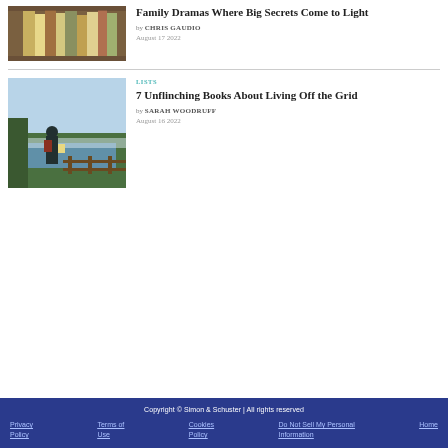[Figure (photo): Stack of books in a library setting]
Family Dramas Where Big Secrets Come to Light
by CHRIS GAUDIO
August 17 2022
[Figure (photo): Person with backpack reading near a lake in nature]
LISTS
7 Unflinching Books About Living Off the Grid
by SARAH WOODRUFF
August 16 2022
Copyright © Simon & Schuster | All rights reserved
Privacy Policy  Terms of Use  Cookies Policy  Do Not Sell My Personal Information  Home